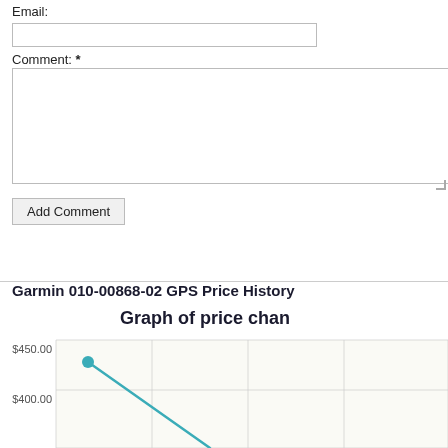Email:
Comment: *
Add Comment
Garmin 010-00868-02 GPS Price History
[Figure (line-chart): Line chart showing GPS price history starting around $430 at the leftmost point and declining steeply toward lower values. Y-axis shows $400.00 and $450.00 gridlines visible.]